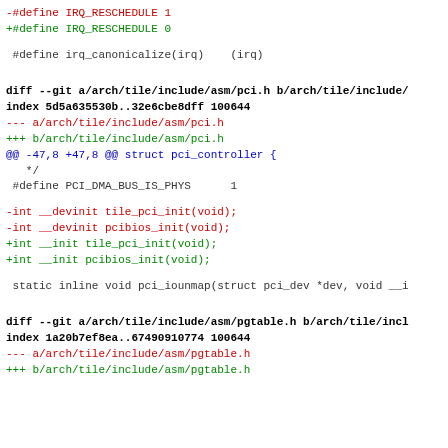-#define IRQ_RESCHEDULE 1
+#define IRQ_RESCHEDULE 0
#define irq_canonicalize(irq)    (irq)
diff --git a/arch/tile/include/asm/pci.h b/arch/tile/include/
index 5d5a635530b..32e6cbe8dff 100644
--- a/arch/tile/include/asm/pci.h
+++ b/arch/tile/include/asm/pci.h
@@ -47,8 +47,8 @@ struct pci_controller {
*/
#define PCI_DMA_BUS_IS_PHYS      1
-int __devinit tile_pci_init(void);
-int __devinit pcibios_init(void);
+int __init tile_pci_init(void);
+int __init pcibios_init(void);
static inline void pci_iounmap(struct pci_dev *dev, void __i
diff --git a/arch/tile/include/asm/pgtable.h b/arch/tile/incl
index 1a20b7ef8ea..67490910774 100644
--- a/arch/tile/include/asm/pgtable.h
+++ b/arch/tile/include/asm/pgtable.h